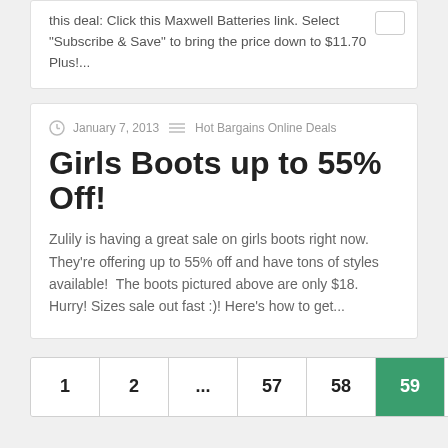this deal: Click this Maxwell Batteries link. Select "Subscribe & Save" to bring the price down to $11.70 Plus!...
January 7, 2013   Hot Bargains Online Deals
Girls Boots up to 55% Off!
Zulily is having a great sale on girls boots right now. They're offering up to 55% off and have tons of styles available!  The boots pictured above are only $18. Hurry! Sizes sale out fast :)! Here's how to get...
1
2
...
57
58
59
60